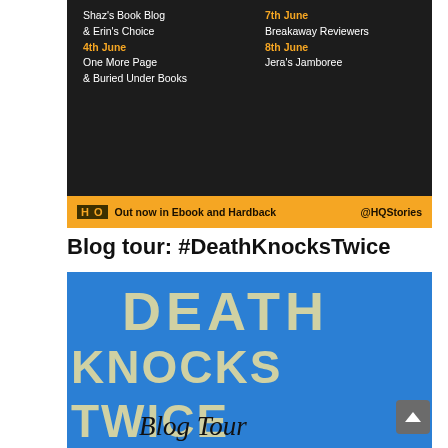[Figure (infographic): Blog tour banner with dark background listing tour dates and blog names. Left column: '3rd June Shaz's Book Blog & Erin's Choice', '4th June One More Page & Buried Under Books'. Right column: '7th June Breakaway Reviewers', '8th June Jera's Jamboree'. Bottom bar in gold shows HQ logo, 'Out now in Ebook and Hardback', and '@HQStories'.]
Blog tour: #DeathKnocksTwice
[Figure (illustration): Blue book cover/blog tour graphic with large distressed text reading 'DEATH KNOCKS TWICE' and italic script text 'Blog Tour' below.]